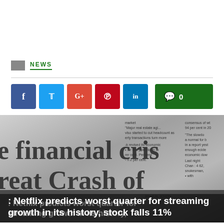NEWS
[Figure (photo): Close-up photograph of a newspaper with large serif headline text reading 'financial crisis' and 'great Crash of...' with smaller columns of financial news text visible]
: Netflix predicts worst quarter for streaming growth in its history, stock falls 11%